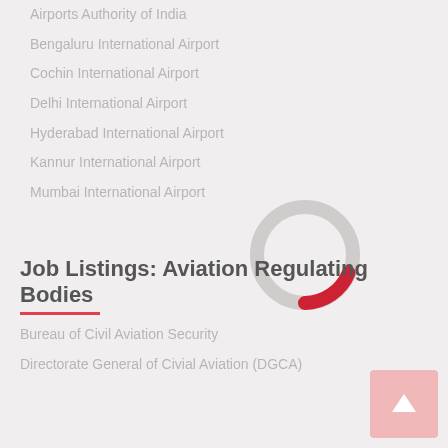Airports Authority of India
Bengaluru International Airport
Cochin International Airport
Delhi International Airport
Hyderabad International Airport
Kannur International Airport
Mumbai International Airport
[Figure (other): Loading spinner graphic with grey ring and red arc segment]
Job Listings: Aviation Regulating Bodies
Bureau of Civil Aviation Security
Directorate General of Civial Aviation (DGCA)